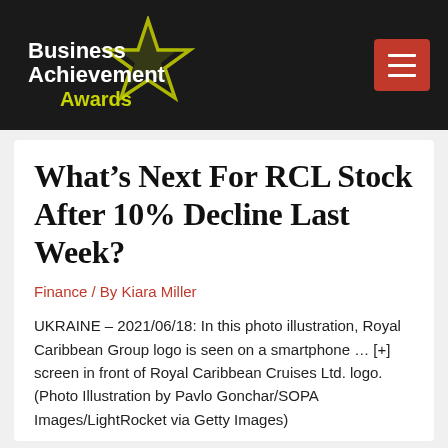[Figure (logo): Business Achievement Awards logo — white text with green star on dark background]
What’s Next For RCL Stock After 10% Decline Last Week?
Finance / By Kiara Miller
UKRAINE – 2021/06/18: In this photo illustration, Royal Caribbean Group logo is seen on a smartphone … [+] screen in front of Royal Caribbean Cruises Ltd. logo. (Photo Illustration by Pavlo Gonchar/SOPA Images/LightRocket via Getty Images)